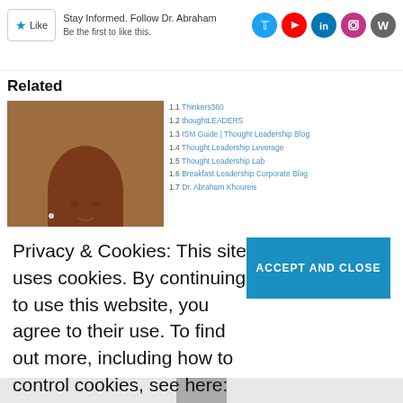Like  Stay Informed. Follow Dr. Abraham  Be the first to like this.
Related
[Figure (photo): Portrait photo of a woman with long brown hair wearing a dark jacket with pink collar]
1.1 Thinkers360
1.2 thoughtLEADERS
1.3 ISM Guide | Thought Leadership Blog
1.4 Thought Leadership Leverage
1.5 Thought Leadership Lab
1.6 Breakfast Leadership Corporate Blog
1.7 Dr. Abraham Khoureis
Privacy & Cookies: This site uses cookies. By continuing to use this website, you agree to their use. To find out more, including how to control cookies, see here: Cookie Policy
ACCEPT AND CLOSE